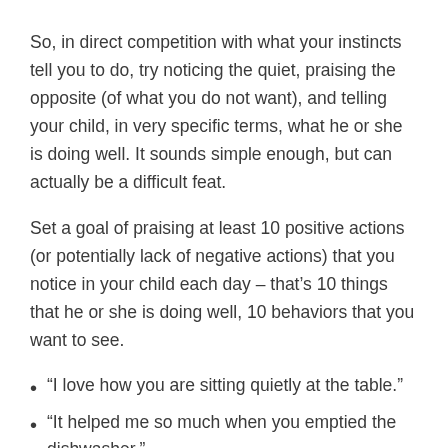So, in direct competition with what your instincts tell you to do, try noticing the quiet, praising the opposite (of what you do not want), and telling your child, in very specific terms, what he or she is doing well. It sounds simple enough, but can actually be a difficult feat.
Set a goal of praising at least 10 positive actions (or potentially lack of negative actions) that you notice in your child each day – that's 10 things that he or she is doing well, 10 behaviors that you want to see.
“I love how you are sitting quietly at the table.”
“It helped me so much when you emptied the dishwasher.”
“You followed that direction so quickly!”
“You really played well today with your sister.”